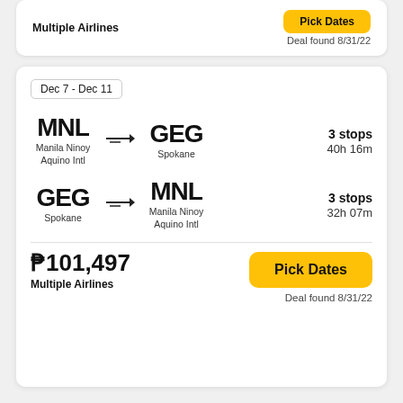Multiple Airlines
Deal found 8/31/22
Dec 7 - Dec 11
MNL → GEG · Manila Ninoy Aquino Intl → Spokane · 3 stops · 40h 16m
GEG → MNL · Spokane → Manila Ninoy Aquino Intl · 3 stops · 32h 07m
₱101,497
Multiple Airlines
Pick Dates
Deal found 8/31/22